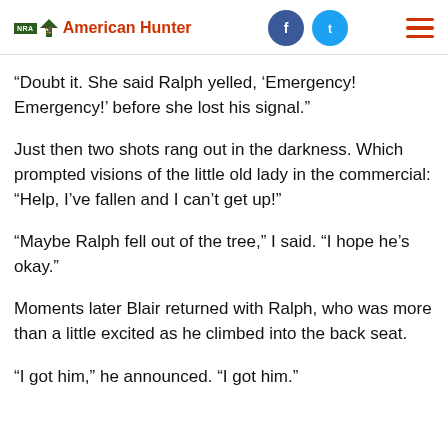NRA American Hunter
“Doubt it. She said Ralph yelled, ‘Emergency! Emergency!’ before she lost his signal.”
Just then two shots rang out in the darkness. Which prompted visions of the little old lady in the commercial: “Help, I’ve fallen and I can’t get up!”
“Maybe Ralph fell out of the tree,” I said. “I hope he’s okay.”
Moments later Blair returned with Ralph, who was more than a little excited as he climbed into the back seat.
“I got him,” he announced. “I got him.”